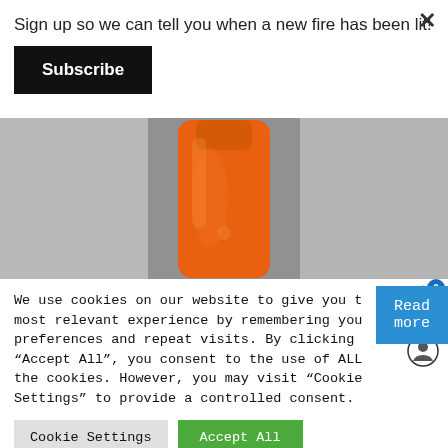Sign up so we can tell you when a new fire has been lit!
Subscribe
[Figure (photo): A glass bottle filled with orange hot sauce, photographed against a metallic/silver background]
We use cookies on our website to give you the most relevant experience by remembering your preferences and repeat visits. By clicking “Accept All”, you consent to the use of ALL the cookies. However, you may visit “Cookie Settings” to provide a controlled consent.
Cookie Settings
Accept All
Read more